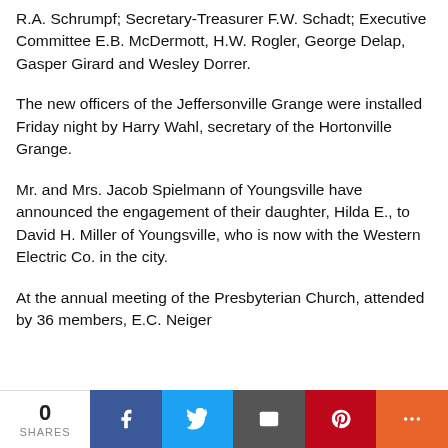R.A. Schrumpf; Secretary-Treasurer F.W. Schadt; Executive Committee E.B. McDermott, H.W. Rogler, George Delap, Gasper Girard and Wesley Dorrer.
The new officers of the Jeffersonville Grange were installed Friday night by Harry Wahl, secretary of the Hortonville Grange.
Mr. and Mrs. Jacob Spielmann of Youngsville have announced the engagement of their daughter, Hilda E., to David H. Miller of Youngsville, who is now with the Western Electric Co. in the city.
At the annual meeting of the Presbyterian Church, attended by 36 members, E.C. Neiger
0 SHARES [Facebook] [Twitter] [Email] [Pinterest] [More]